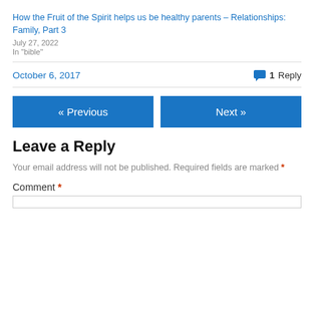How the Fruit of the Spirit helps us be healthy parents – Relationships: Family, Part 3
July 27, 2022
In "bible"
October 6, 2017
1 Reply
« Previous
Next »
Leave a Reply
Your email address will not be published. Required fields are marked *
Comment *